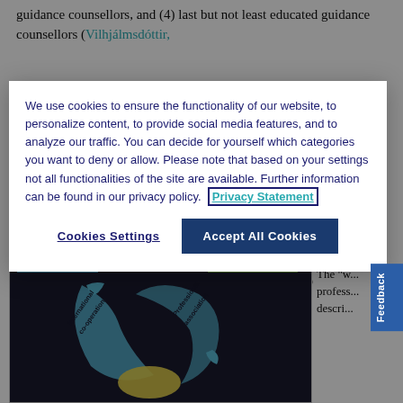guidance counsellors, and (4) last but not least educated guidance counsellors (Vilhjálmsdóttir,
We use cookies to ensure the functionality of our website, to personalize content, to provide social media features, and to analyze our traffic. You can decide for yourself which categories you want to deny or allow. Please note that based on your settings not all functionalities of the site are available. Further information can be found in our privacy policy. Privacy Statement
Cookies Settings
Accept All Cookies
parliament, on the licensure of the professional title of educational and vocational counsellor.
Figure 10
The "w... profess... descri...
[Figure (infographic): Dark background infographic showing circular arrow elements labeled 'Elements' and 'Counseling work' with text including 'International co-operation' and 'Professional association']